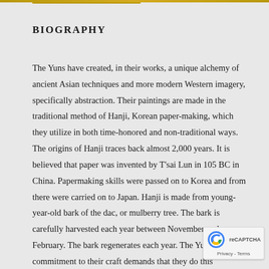BIOGRAPHY
The Yuns have created, in their works, a unique alchemy of ancient Asian techniques and more modern Western imagery, specifically abstraction. Their paintings are made in the traditional method of Hanji, Korean paper-making, which they utilize in both time-honored and non-traditional ways. The origins of Hanji traces back almost 2,000 years. It is believed that paper was invented by T'sai Lun in 105 BC in China. Papermaking skills were passed on to Korea and from there were carried on to Japan. Hanji is made from young-year-old bark of the dac, or mulberry tree. The bark is carefully harvested each year between November and February. The bark regenerates each year. The Yuns commitment to their craft demands that they do this collection themselves. They pay farmers in South Korea to keep forests of dac intact and visit the orchards each year